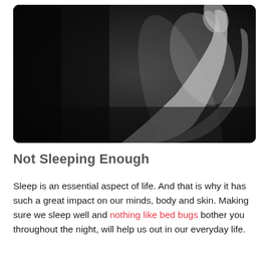[Figure (photo): Black and white photograph of a human hand and arm raised against a dark background, showing the palm and fingers reaching upward.]
Not Sleeping Enough
Sleep is an essential aspect of life. And that is why it has such a great impact on our minds, body and skin. Making sure we sleep well and nothing like bed bugs bother you throughout the night, will help us out in our everyday life.